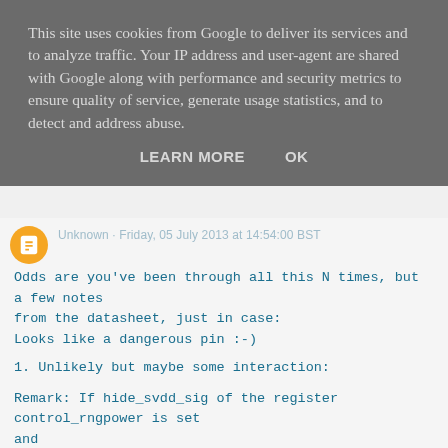This site uses cookies from Google to deliver its services and to analyze traffic. Your IP address and user-agent are shared with Google along with performance and security metrics to ensure quality of service, generate usage statistics, and to detect and address abuse.
LEARN MORE    OK
Odds are you've been through all this N times, but a few notes from the datasheet, just in case:
Looks like a dangerous pin :-)
1. Unlikely but maybe some interaction:
Remark: If hide_svdd_sig of the register control_rngpower is set and
gpirq_enable_P34 is also set then this bit will be asserted independently
of the level on the pad P34.
2. SIC_CLK ?